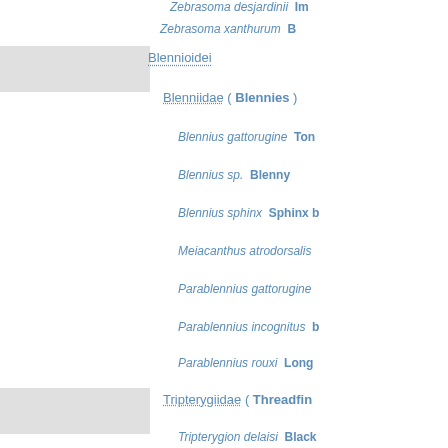Zebrasoma desjardinii  [truncated]
Zebrasoma xanthurum  [truncated bold]
Blennioidei
Blenniidae ( Blennies )
Blennius gattorugine  Ton[truncated]
Blennius sp.  Blenny
Blennius sphinx  Sphinx [truncated]
Meiacanthus atrodorsalis
Parablennius gattorugine
Parablennius incognitus [truncated]
Parablennius rouxi  Long[truncated]
Tripterygiidae ( Threadfin[truncated] )
Tripterygion delaisi  Black[truncated]
Tripterygion melanurus  T[truncated]
Tripterygion tripteronotus
Carangidae ( Trevallyfishs )
Carangoides bajad  Goldbo[truncated]
Carangoides ferdau  Blue t[truncated]
Cirrhitidae ( Hawkfishs )
Paracirrhites forsteri  Blacks[truncated]
Ephippididae ( Batfish )
Platax orbicularis  Circular [truncated]
Gobioidei